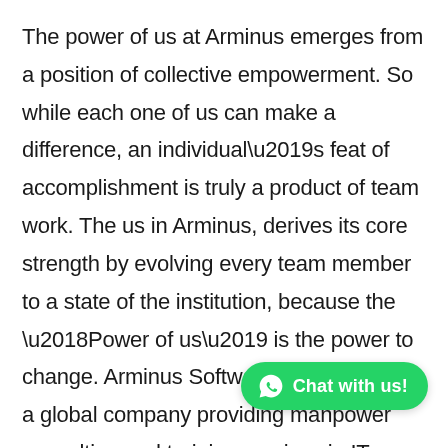The power of us at Arminus emerges from a position of collective empowerment. So while each one of us can make a difference, an individual’s feat of accomplishment is truly a product of team work. The us in Arminus, derives its core strength by evolving every team member to a state of the institution, because the ‘Power of us’ is the power to change. Arminus Software Pvt. Limited is a global company providing manpower consulting and training services in IT, Telecom, Automotive and Insurance domains. We provide the most crucial resource to the organizations that they can concentrate on their core areas of